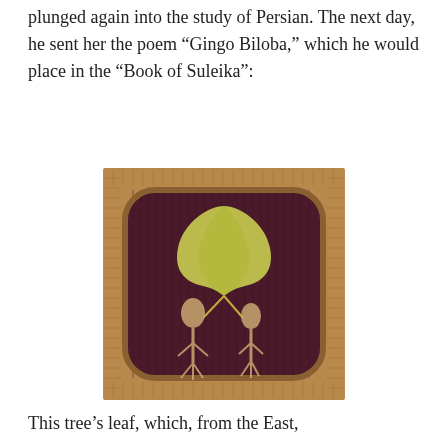plunged again into the study of Persian. The next day, he sent her the poem “Gingo Biloba,” which he would place in the “Book of Suleika”:
[Figure (photo): A decorative artwork featuring a ginkgo leaf and two ginseng root figures on a dark woven background with a bamboo-style frame.]
This tree’s leaf, which, from the East,